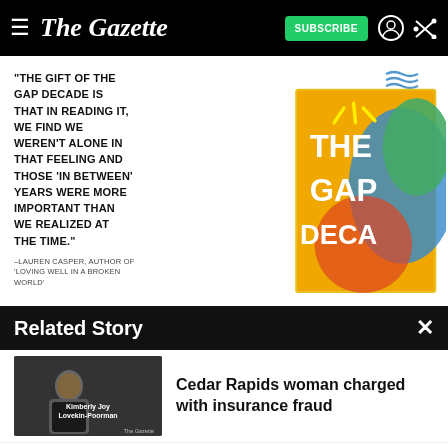The Gazette — SUBSCRIBE
[Figure (photo): Advertisement for 'The Gap Decade' book featuring a pull quote: '"THE GIFT OF THE GAP DECADE IS THAT IN READING IT, WE FIND WE WEREN'T ALONE IN THAT FEELING AND THOSE 'IN BETWEEN' YEARS WERE MORE IMPORTANT THAN WE REALIZED AT THE TIME."' attributed to Lauren Casper, author of 'Loving Well in a Broken World'. Shows book cover with colorful design and IVP publisher logo.]
Related Story
[Figure (screenshot): Thumbnail image of Kimberly Joy Lovekin-Poorman, used as related story preview image]
Cedar Rapids woman charged with insurance fraud
[Figure (photo): Amazon advertisement showing products (purple bag, red sneakers, video game controller) with text: Shop. Connect. Enjoy. Shop now ▸ amazon Privacy]